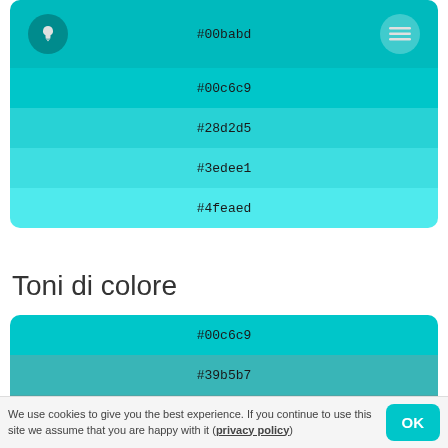[Figure (infographic): Color palette swatches showing tints from #00babd to #4feaed with hex codes, teal/cyan colors]
Toni di colore
[Figure (infographic): Color tone swatches from #00c6c9 to #5f8585 showing desaturated/darker tones]
We use cookies to give you the best experience. If you continue to use this site we assume that you are happy with it (privacy policy)